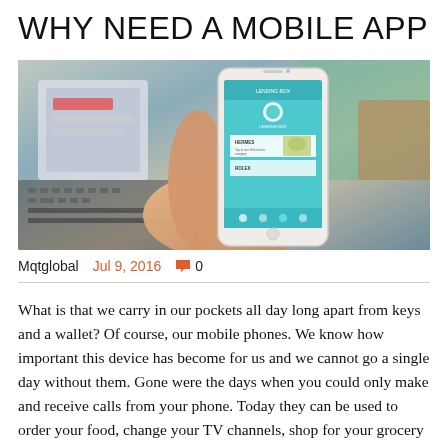WHY NEED A MOBILE APP
[Figure (photo): A hand holding a smartphone displaying a mobile app interface, with a laptop and other items blurred in the background.]
Mqtglobal   Jul 9, 2016   💬 0
What is that we carry in our pockets all day long apart from keys and a wallet? Of course, our mobile phones. We know how important this device has become for us and we cannot go a single day without them. Gone were the days when you could only make and receive calls from your phone. Today they can be used to order your food, change your TV channels, shop for your grocery and even operate